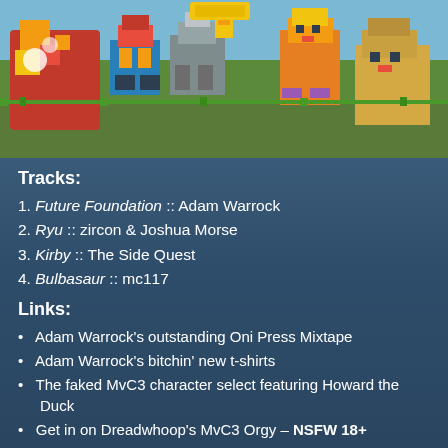[Figure (illustration): Minecraft-style character artwork collage featuring multiple blocky game characters including what appears to be Mario, various creatures and characters in a colorful scene with green grass background]
Tracks:
Future Foundation :: Adam Warrock
Ryu :: zircon & Joshua Morse
Kirby :: The Side Quest
Bulbasaur :: mc117
Links:
Adam Warrock's outstanding Oni Press Mixtape
Adam Warrock's bitchin' new t-shirts
The faked MvC3 character select featuring Howard the Duck
Get in on Dreadwhoop's MvC3 Orgy – NSFW 18+
The sadistic and customizable Super Deepthroat – NSFW 18+
Get yourself some Super Deepthroat skins – NSFW 18+